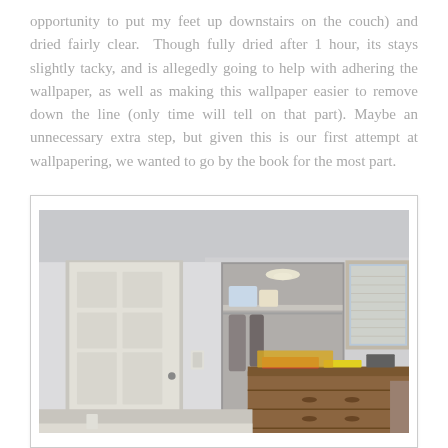opportunity to put my feet up downstairs on the couch) and dried fairly clear. Though fully dried after 1 hour, its stays slightly tacky, and is allegedly going to help with adhering the wallpaper, as well as making this wallpaper easier to remove down the line (only time will tell on that part). Maybe an unnecessary extra step, but given this is our first attempt at wallpapering, we wanted to go by the book for the most part.
[Figure (photo): Interior room photo showing white painted walls, a white six-panel door on the left, a closet opening in the center-right with items on the shelf, a window with blinds on the right, and a wooden dresser with items on top in the foreground.]